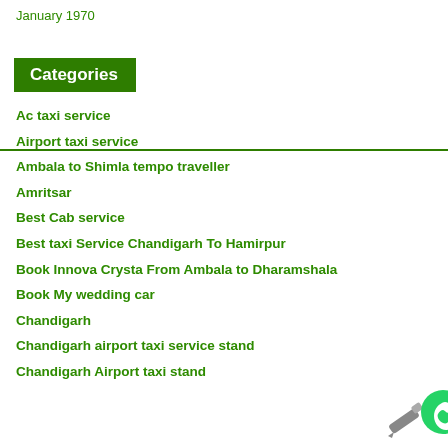January 1970
Categories
Ac taxi service
Airport taxi service
Ambala to Shimla tempo traveller
Amritsar
Best Cab service
Best taxi Service Chandigarh To Hamirpur
Book Innova Crysta From Ambala to Dharamshala
Book My wedding car
Chandigarh
Chandigarh airport taxi service stand
Chandigarh Airport taxi stand
[Figure (logo): WhatsApp icon with pencil overlay in bottom right corner]